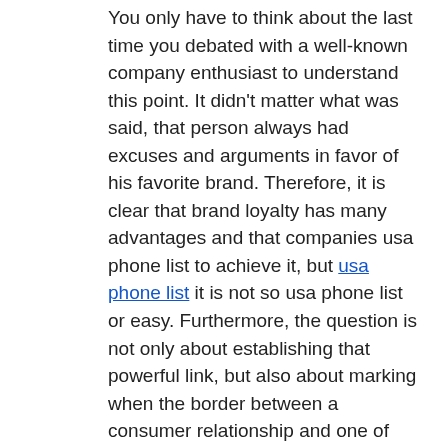You only have to think about the last time you debated with a well-known company enthusiast to understand this point. It didn't matter what was said, that person always had excuses and arguments in favor of his favorite brand. Therefore, it is clear that brand loyalty has many advantages and that companies usa phone list to achieve it, but usa phone list it is not so usa phone list or easy. Furthermore, the question is not only about establishing that powerful link, but also about marking when the border between a consumer relationship and one of fidelity is crossed. At what point does the consumer stop being a recurring buyer and become a loyal one? If the consumer himself is asked, more demanding results may be obtained than if the question is left in the hands of the brand itself and its managers. They may think that loyalty begins earlier than what the consumer actually considers.